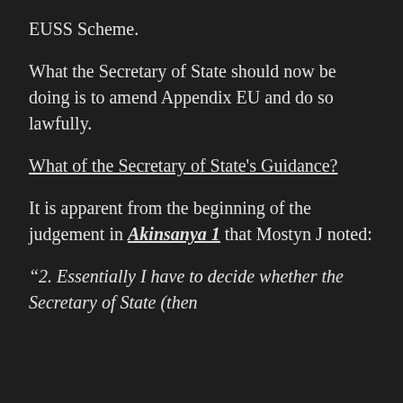EUSS Scheme.
What the Secretary of State should now be doing is to amend Appendix EU and do so lawfully.
What of the Secretary of State's Guidance?
It is apparent from the beginning of the judgement in Akinsanya 1 that Mostyn J noted:
“2. Essentially I have to decide whether the Secretary of State (then